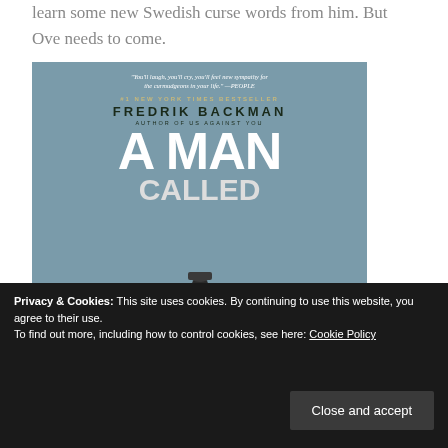learn some new Swedish curse words from him. But Ove needs to come.
[Figure (photo): Book cover of 'A Man Called Ove' by Fredrik Backman. #1 New York Times Bestseller. Blue-gray background with a man seen from behind wearing a hat and suit jacket. Large white text reads 'A MAN CALLED' with partial letters visible at bottom.]
Privacy & Cookies: This site uses cookies. By continuing to use this website, you agree to their use.
To find out more, including how to control cookies, see here: Cookie Policy
Close and accept